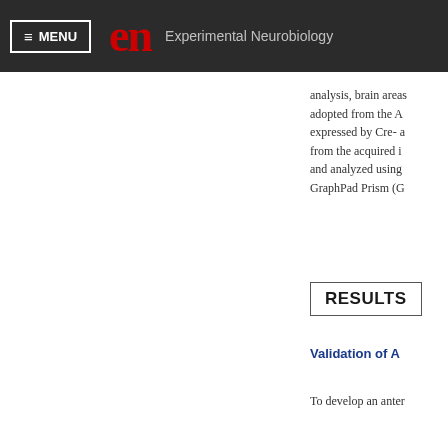MENU | en Experimental Neurobiology
analysis, brain areas adopted from the A expressed by Cre- a from the acquired i and analyzed using GraphPad Prism (G
RESULTS
Validation of A
To develop an anter